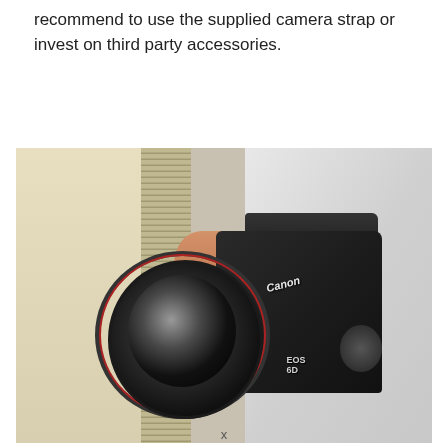recommend to use the supplied camera strap or invest on third party accessories.
[Figure (photo): A person holding a Canon EOS 6D DSLR camera with a large zoom lens, against a background with a wall, window blinds, and a white shirt.]
x